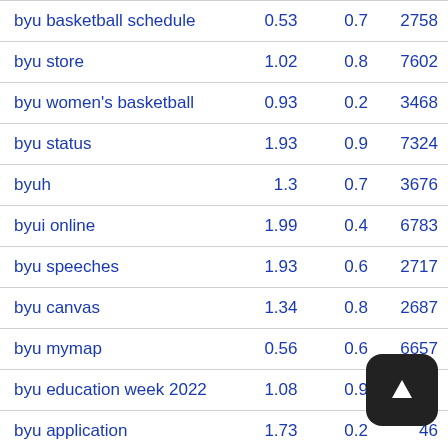| byu basketball schedule | 0.53 | 0.7 | 2758 |
| byu store | 1.02 | 0.8 | 7602 |
| byu women's basketball | 0.93 | 0.2 | 3468 |
| byu status | 1.93 | 0.9 | 7324 |
| byuh | 1.3 | 0.7 | 3676 |
| byui online | 1.99 | 0.4 | 6783 |
| byu speeches | 1.93 | 0.6 | 2717 |
| byu canvas | 1.34 | 0.8 | 2687 |
| byu mymap | 0.56 | 0.6 | 6657 |
| byu education week 2022 | 1.08 | 0.9 | 3416 |
| byu application | 1.73 | 0.2 | 46… |
| byu football news | 0.47 | 0.3 | 9145 |